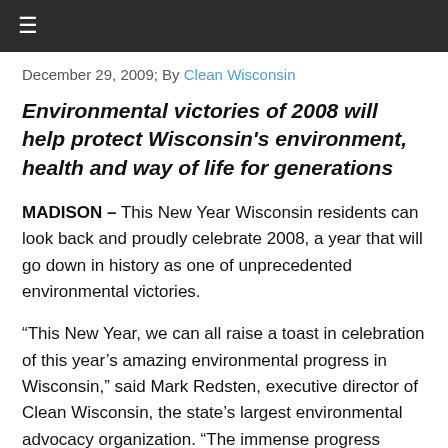≡
December 29, 2009; By Clean Wisconsin
Environmental victories of 2008 will help protect Wisconsin's environment, health and way of life for generations
MADISON – This New Year Wisconsin residents can look back and proudly celebrate 2008, a year that will go down in history as one of unprecedented environmental victories.
“This New Year, we can all raise a toast in celebration of this year’s amazing environmental progress in Wisconsin,” said Mark Redsten, executive director of Clean Wisconsin, the state’s largest environmental advocacy organization. “The immense progress made in 2008 builds an environmental legacy that will help